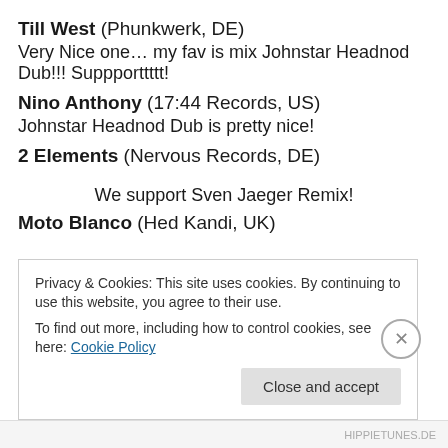Till West (Phunkwerk, DE)
Very Nice one… my fav is mix Johnstar Headnod Dub!!! Suppporttttt!
Nino Anthony (17:44 Records, US)
Johnstar Headnod Dub is pretty nice!
2 Elements (Nervous Records, DE)
We support Sven Jaeger Remix!
Moto Blanco (Hed Kandi, UK)
Privacy & Cookies: This site uses cookies. By continuing to use this website, you agree to their use.
To find out more, including how to control cookies, see here: Cookie Policy
Close and accept